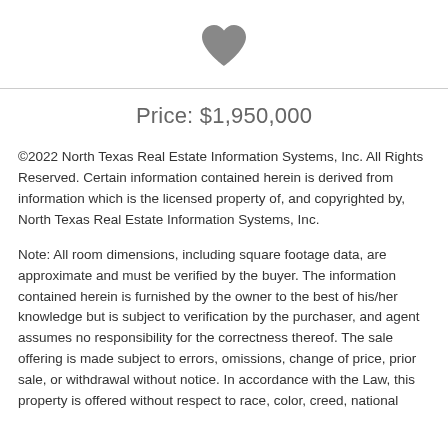[Figure (illustration): Dark gray filled heart icon centered at top of page]
Price: $1,950,000
©2022 North Texas Real Estate Information Systems, Inc. All Rights Reserved. Certain information contained herein is derived from information which is the licensed property of, and copyrighted by, North Texas Real Estate Information Systems, Inc.
Note: All room dimensions, including square footage data, are approximate and must be verified by the buyer. The information contained herein is furnished by the owner to the best of his/her knowledge but is subject to verification by the purchaser, and agent assumes no responsibility for the correctness thereof. The sale offering is made subject to errors, omissions, change of price, prior sale, or withdrawal without notice. In accordance with the Law, this property is offered without respect to race, color, creed, national